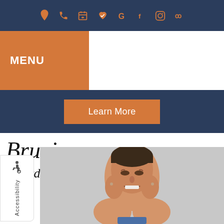Navigation icons: location, phone, calendar, heart, Google, Facebook, Instagram, Yelp
MENU
Learn More
Bruxism
Tigard, OR
[Figure (photo): Woman grimacing and pressing her hands against her jaw, illustrating jaw pain associated with bruxism]
Accessibility